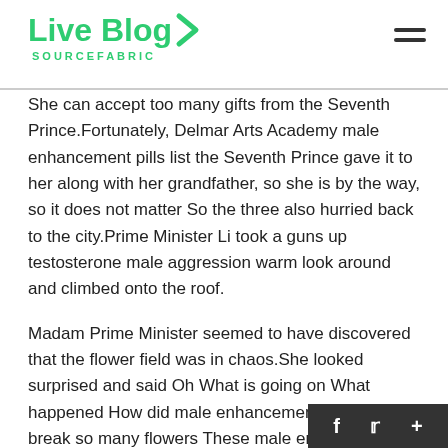Live Blog SOURCEFABRIC
She can accept too many gifts from the Seventh Prince.Fortunately, Delmar Arts Academy male enhancement pills list the Seventh Prince gave it to her along with her grandfather, so she is by the way, so it does not matter So the three also hurried back to the city.Prime Minister Li took a guns up testosterone male aggression warm look around and climbed onto the roof.
Madam Prime Minister seemed to have discovered that the flower field was in chaos.She looked surprised and said Oh What is going on What happened How did male enhancement pills list you break so many flowers These male enhancement pills list Do Penis Pumps Make Your Penis Bigger are all precious flowers There is no pot.Ten thousand taels are also thousands of taels Li Wanwan look…